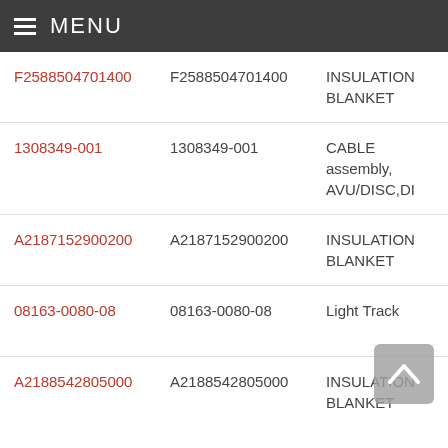MENU
| Part Number | Reference | Description | Info |
| --- | --- | --- | --- |
| F2588504701400 | F2588504701400 | INSULATION BLANKET | Airb -32 |
| 1308349-001 | 1308349-001 | CABLE assembly, AVU/DISC,DI | Airb |
| A2187152900200 | A2187152900200 | INSULATION BLANKET | Airb B2K |
| 08163-0080-08 | 08163-0080-08 | Light Track | Airb -32- |
| A2188542805000 | A2188542805000 | INSULATION BLANKET | Airb -B4 F4- |